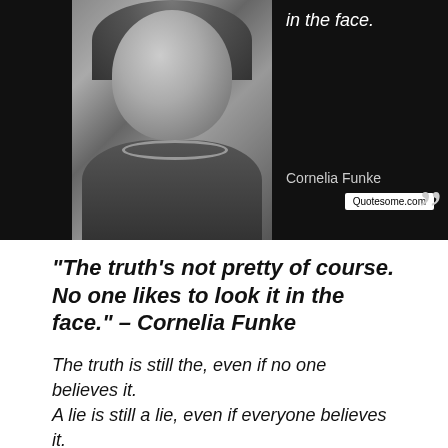[Figure (photo): Black and white photo of a woman (Cornelia Funke) smiling, with a beaded necklace, set against a dark background. The right portion shows a dark panel with the text 'in the face.' at top, 'Cornelia Funke' in the middle, a 'Quotesome.com' badge, and large closing quotation marks in the bottom right corner.]
“The truth’s not pretty of course. No one likes to look it in the face.” – Cornelia Funke
The truth is still the, even if no one believes it.
A lie is still a lie, even if everyone believes it.
The lie is temporary. No matter how much you try to hide the